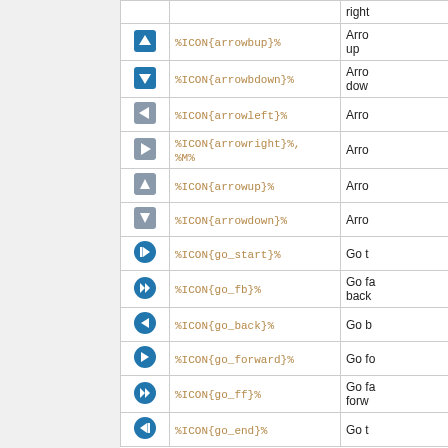| Icon | Code | Description |
| --- | --- | --- |
| [arrowbup icon] | %ICON{arrowbup}% | Arrow up |
| [arrowbdown icon] | %ICON{arrowbdown}% | Arrow down |
| [arrowleft icon] | %ICON{arrowleft}% | Arrow left |
| [arrowright icon] | %ICON{arrowright}%, %M% | Arrow right |
| [arrowup icon] | %ICON{arrowup}% | Arrow up |
| [arrowdown icon] | %ICON{arrowdown}% | Arrow down |
| [go_start icon] | %ICON{go_start}% | Go to |
| [go_fb icon] | %ICON{go_fb}% | Go fast back |
| [go_back icon] | %ICON{go_back}% | Go back |
| [go_forward icon] | %ICON{go_forward}% | Go forward |
| [go_ff icon] | %ICON{go_ff}% | Go fast forward |
| [go_end icon] | %ICON{go_end}% | Go to |